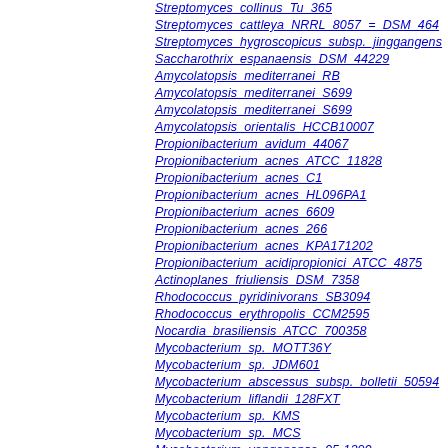Streptomyces collinus Tu 365
Streptomyces cattleya NRRL 8057 = DSM 464
Streptomyces hygroscopicus subsp. jinggangens
Saccharothrix espanaensis DSM 44229
Amycolatopsis mediterranei RB
Amycolatopsis mediterranei S699
Amycolatopsis mediterranei S699
Amycolatopsis orientalis HCCB10007
Propionibacterium avidum 44067
Propionibacterium acnes ATCC 11828
Propionibacterium acnes C1
Propionibacterium acnes HL096PA1
Propionibacterium acnes 6609
Propionibacterium acnes 266
Propionibacterium acnes KPA171202
Propionibacterium acidipropionici ATCC 4875
Actinoplanes friuliensis DSM 7358
Rhodococcus pyridinivorans SB3094
Rhodococcus erythropolis CCM2595
Nocardia brasiliensis ATCC 700358
Mycobacterium sp. MOTT36Y
Mycobacterium sp. JDM601
Mycobacterium abscessus subsp. bolletii 50594
Mycobacterium liflandii 128FXT
Mycobacterium sp. KMS
Mycobacterium sp. MCS
Mycobacterium yongonense 05-1390
Mycobacterium intracellulare MOTT-64
Mycobacterium indicus pranii MTCC 9506
Mycobacterium intracellulare MOTT-02